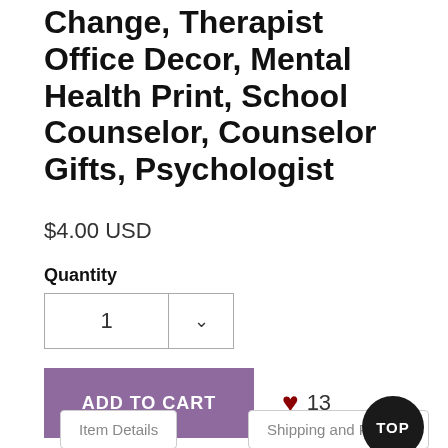Change, Therapist Office Decor, Mental Health Print, School Counselor, Counselor Gifts, Psychologist
$4.00 USD
Quantity
1
ADD TO CART
13
Item Details
Shipping and Policies
TOP